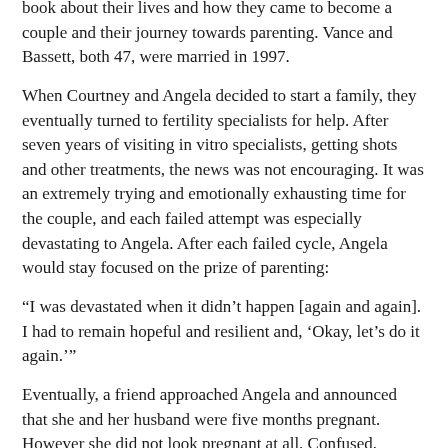book about their lives and how they came to become a couple and their journey towards parenting. Vance and Bassett, both 47, were married in 1997.
When Courtney and Angela decided to start a family, they eventually turned to fertility specialists for help. After seven years of visiting in vitro specialists, getting shots and other treatments, the news was not encouraging. It was an extremely trying and emotionally exhausting time for the couple, and each failed attempt was especially devastating to Angela. After each failed cycle, Angela would stay focused on the prize of parenting:
“I was devastated when it didn’t happen [again and again]. I had to remain hopeful and resilient and, ‘Okay, let’s do it again.’”
Eventually, a friend approached Angela and announced that she and her husband were five months pregnant. However she did not look pregnant at all. Confused, Angela said, ‘You are?’ and the friend revealed that they were working with a surrogate mother. She began to tell me about the idea of surrogacy. The more we learned about it,